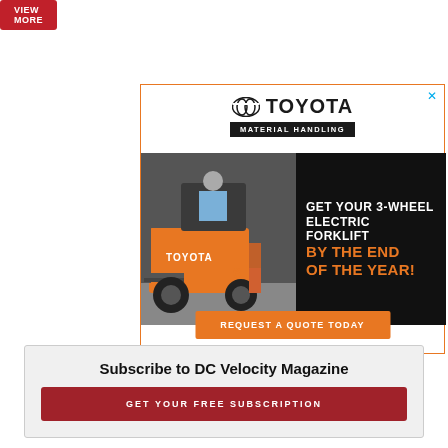[Figure (other): Red 'VIEW MORE' button at top left]
[Figure (illustration): Toyota Material Handling advertisement featuring a 3-wheel electric forklift. Text reads: GET YOUR 3-WHEEL ELECTRIC FORKLIFT BY THE END OF THE YEAR! with a REQUEST A QUOTE TODAY button.]
Subscribe to DC Velocity Magazine
GET YOUR FREE SUBSCRIPTION